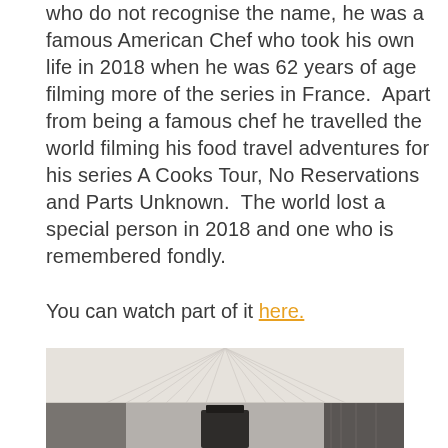who do not recognise the name, he was a famous American Chef who took his own life in 2018 when he was 62 years of age filming more of the series in France.  Apart from being a famous chef he travelled the world filming his food travel adventures for his series A Cooks Tour, No Reservations and Parts Unknown.  The world lost a special person in 2018 and one who is remembered fondly.
You can watch part of it here.
[Figure (photo): Interior photo of what appears to be a caravan or mobile home, showing a white slatted ceiling with lines converging toward the back, gray walls on the left, a dark rectangular door or appliance in the center background, and curtains on the right side.]